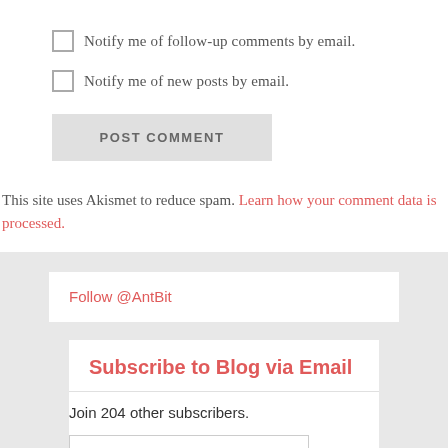Notify me of follow-up comments by email.
Notify me of new posts by email.
POST COMMENT
This site uses Akismet to reduce spam. Learn how your comment data is processed.
Follow @AntBit
Subscribe to Blog via Email
Join 204 other subscribers.
Email Address